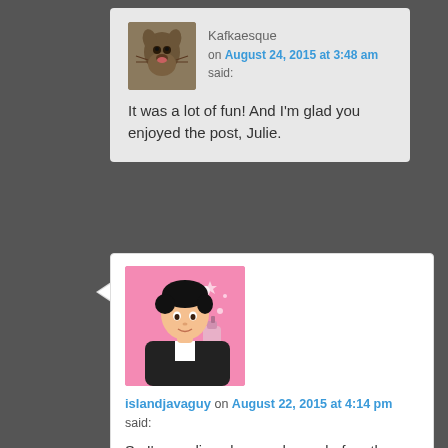Kafkaesque on August 24, 2015 at 3:48 am said:
It was a lot of fun! And I'm glad you enjoyed the post, Julie.
islandjavaguy on August 22, 2015 at 4:14 pm said:
So I'm reading along and even before the paragraph finished I found myself thinking “oh god, I hope she uses the Egyptian Jasmine!” Et voila! Purely and selfishly of course, because personally too much indole and I run to open all